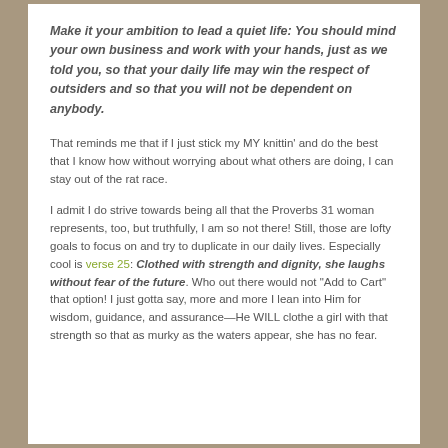Make it your ambition to lead a quiet life: You should mind your own business and work with your hands, just as we told you, so that your daily life may win the respect of outsiders and so that you will not be dependent on anybody.
That reminds me that if I just stick my MY knittin' and do the best that I know how without worrying about what others are doing, I can stay out of the rat race.
I admit I do strive towards being all that the Proverbs 31 woman represents, too, but truthfully, I am so not there! Still, those are lofty goals to focus on and try to duplicate in our daily lives. Especially cool is verse 25: Clothed with strength and dignity, she laughs without fear of the future. Who out there would not "Add to Cart" that option! I just gotta say, more and more I lean into Him for wisdom, guidance, and assurance—He WILL clothe a girl with that strength so that as murky as the waters appear, she has no fear.